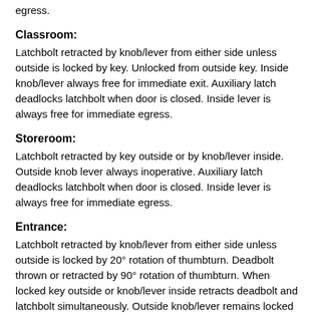egress.
Classroom:
Latchbolt retracted by knob/lever from either side unless outside is locked by key. Unlocked from outside key. Inside knob/lever always free for immediate exit. Auxiliary latch deadlocks latchbolt when door is closed. Inside lever is always free for immediate egress.
Storeroom:
Latchbolt retracted by key outside or by knob/lever inside. Outside knob lever always inoperative. Auxiliary latch deadlocks latchbolt when door is closed. Inside lever is always free for immediate egress.
Entrance:
Latchbolt retracted by knob/lever from either side unless outside is locked by 20° rotation of thumbturn. Deadbolt thrown or retracted by 90° rotation of thumbturn. When locked key outside or knob/lever inside retracts deadbolt and latchbolt simultaneously. Outside knob/lever remains locked until thumbturn is restored to vertical position. Throwing deadbolt automatically locks outside knob/lever. Auxiliary latch deadlocks latchbolt when door is closed. Inside levrer is always free for immediate egress.